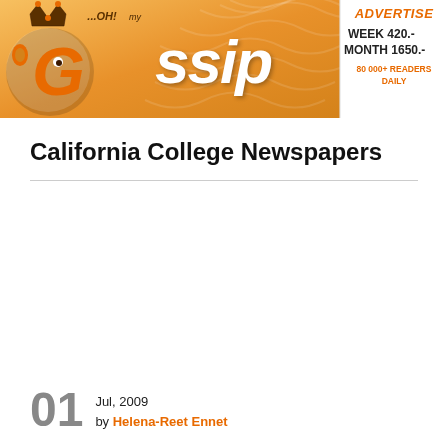[Figure (logo): OH! my Gossip website header banner with orange background and wave pattern. Left section shows the Gossip logo with stylized text and crown/face icon. Right section is white with advertise rates: WEEK 420.- MONTH 1650.- and 80 000+ READERS DAILY.]
California College Newspapers
01   Jul, 2009 by Helena-Reet Ennet